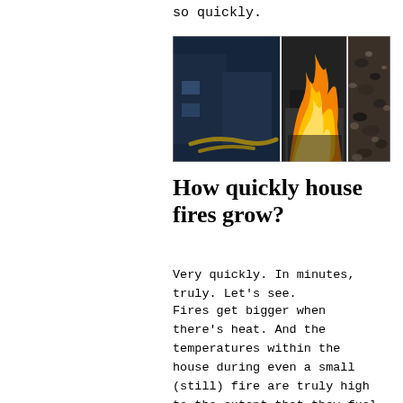so quickly.
[Figure (photo): Composite photo with three panels: left panel shows a fire hose/truck at night with blue lighting and a yellow hose on ground; center panel shows bright orange flames engulfing a structure; right panel shows a close-up of charred debris/ash.]
How quickly house fires grow?
Very quickly. In minutes, truly. Let’s see.
Fires get bigger when there’s heat. And the temperatures within the house during even a small (still) fire are truly high to the extent that they fuel the fire to grow. Now, if you add to that the variety of flammable materials we keep in the house, it’s easy to realize the plethora